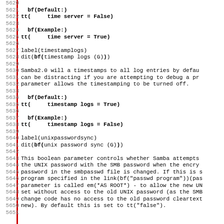5620-5651 source code/documentation lines showing Samba configuration parameters: time server (Default/Example), timestamplogs label/dit, timestamp logs description, timestamp logs Default/Example, unixpasswordsync label/dit, unix password sync description.